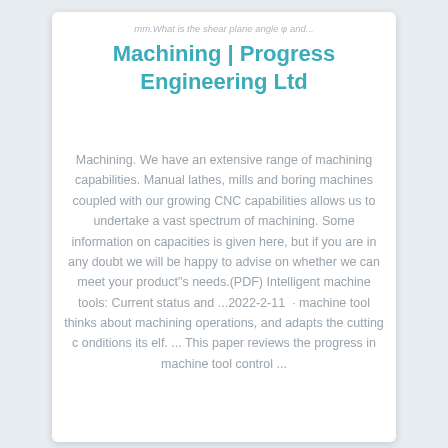mm.What is the shear plane angle φ and...
Machining | Progress Engineering Ltd
Machining. We have an extensive range of machining capabilities. Manual lathes, mills and boring machines coupled with our growing CNC capabilities allows us to undertake a vast spectrum of machining. Some information on capacities is given here, but if you are in any doubt we will be happy to advise on whether we can meet your product"s needs.(PDF) Intelligent machine tools: Current status and ...2022-2-11 · machine tool thinks about machining operations, and adapts the cutting c onditions its elf. ... This paper reviews the progress in machine tool control ...